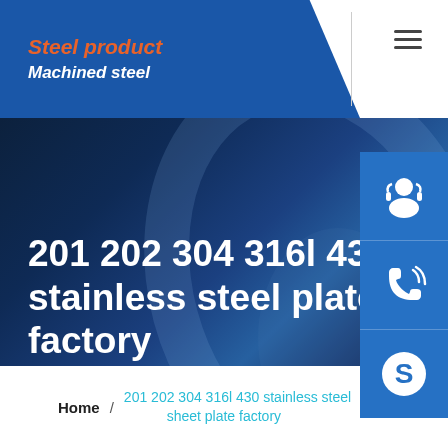Steel product | Machined steel
201 202 304 316l 430 stainless steel sheet plate factory
Home / 201 202 304 316l 430 stainless steel sheet plate factory